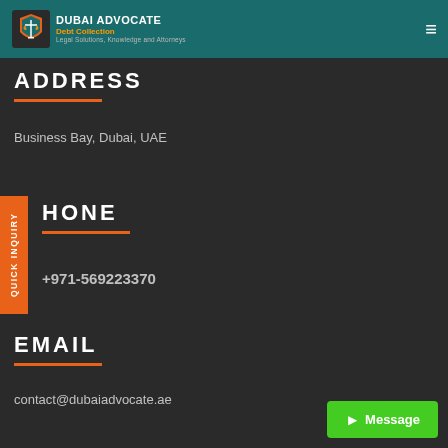DUBAI ADVOCATE | Debt Collection | Legal Solutions, Knowledge and Attorneys
ADDRESS
Business Bay, Dubai, UAE
PHONE
+971-569223370
EMAIL
contact@dubaiadvocate.ae
Message